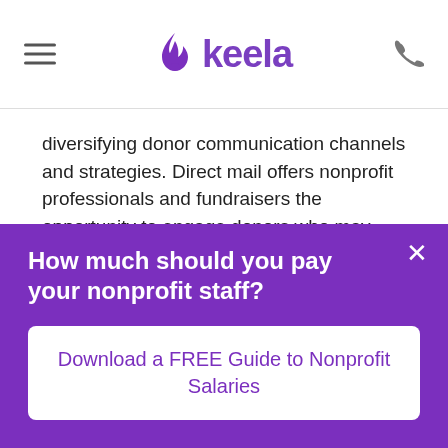keela
diversifying donor communication channels and strategies. Direct mail offers nonprofit professionals and fundraisers the opportunity to engage donors who may prefer non-digital means of communication and marketing. With Virtuous, you can meet these donors where they are.
Virtuous' multichannel engagement features allows you to create custom direct mails and track direct mail delivery. You can automatically send
How much should you pay your nonprofit staff?
Download a FREE Guide to Nonprofit Salaries